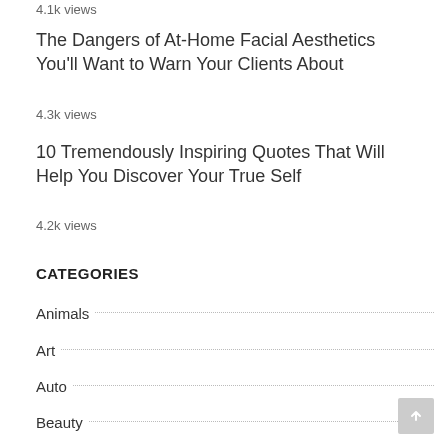4.1k views
The Dangers of At-Home Facial Aesthetics You'll Want to Warn Your Clients About
4.3k views
10 Tremendously Inspiring Quotes That Will Help You Discover Your True Self
4.2k views
CATEGORIES
Animals
Art
Auto
Beauty